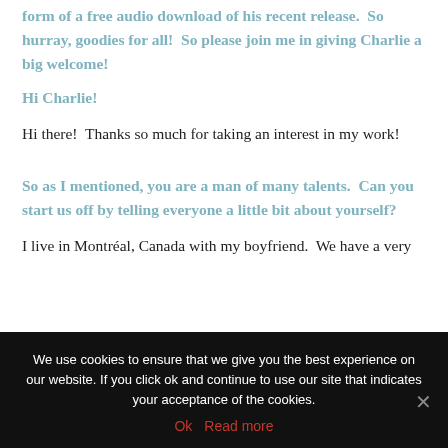form of a free audio download of his recent release.  So hurray, goodies for all!  So please join me in giving Charlie a big welcome!
Hi Charlie!
Hi there!  Thanks so much for taking an interest in my work!
So as I mentioned, you are a man of many talents.  Can you start us off by telling everyone a little bit about yourself?
I live in Montréal, Canada with my boyfriend.  We have a very
We use cookies to ensure that we give you the best experience on our website. If you click ok and continue to use our site that indicates your acceptance of the cookies.
Ok   Read more